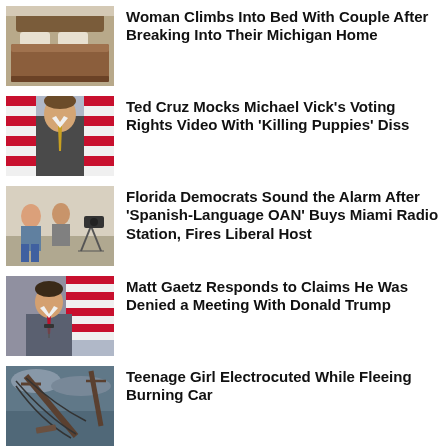[Figure (photo): Bedroom with brown bedspread]
Woman Climbs Into Bed With Couple After Breaking Into Their Michigan Home
[Figure (photo): Ted Cruz speaking in front of American flags]
Ted Cruz Mocks Michael Vick’s Voting Rights Video With ‘Killing Puppies’ Diss
[Figure (photo): People in an office or studio setting]
Florida Democrats Sound the Alarm After ‘Spanish-Language OAN’ Buys Miami Radio Station, Fires Liberal Host
[Figure (photo): Matt Gaetz speaking at a microphone in front of American flag]
Matt Gaetz Responds to Claims He Was Denied a Meeting With Donald Trump
[Figure (photo): Downed power lines after storm damage]
Teenage Girl Electrocuted While Fleeing Burning Car